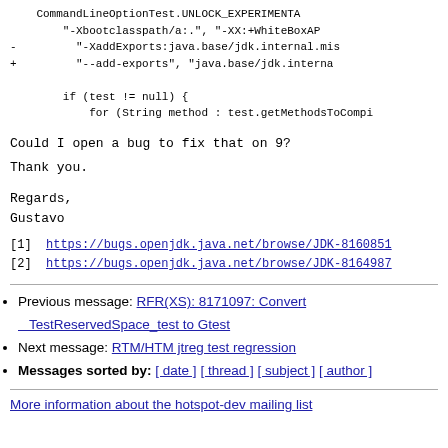CommandLineOptionTest.UNLOCK_EXPERIMENTA
"-Xbootclasspath/a:.", "-XX:+WhiteBoxAP
- "-XaddExports:java.base/jdk.internal.mis
+ "--add-exports", "java.base/jdk.interna

if (test != null) {
    for (String method : test.getMethodsToCompi
Could I open a bug to fix that on 9?
Thank you.
Regards,
Gustavo
[1]  https://bugs.openjdk.java.net/browse/JDK-8160851
[2]  https://bugs.openjdk.java.net/browse/JDK-8164987
Previous message: RFR(XS): 8171097: Convert TestReservedSpace_test to Gtest
Next message: RTM/HTM jtreg test regression
Messages sorted by: [ date ] [ thread ] [ subject ] [ author ]
More information about the hotspot-dev mailing list